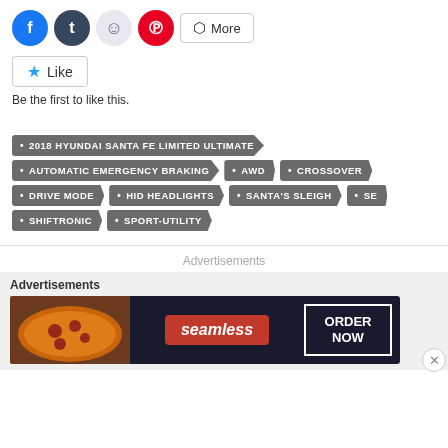[Figure (screenshot): Social share buttons: Facebook, Tumblr, Reddit, Pinterest, and a More button]
[Figure (screenshot): Like button with star icon]
Be the first to like this.
2018 HYUNDAI SANTA FE LIMITED ULTIMATE
AUTOMATIC EMERGENCY BRAKING
AWD
CROSSOVER
DRIVE MODE
HID HEADLIGHTS
SANTA'S SLEIGH
SE
SHIFTRONIC
SPORT-UTILITY
Advertisements
Advertisements
[Figure (screenshot): Seamless food delivery advertisement banner with pizza image, Seamless logo, and ORDER NOW button]